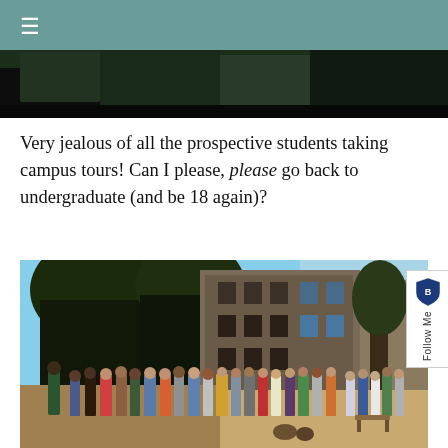≡
[Figure (photo): Partial view of trees/foliage at top of page, strip image]
Very jealous of all the prospective students taking campus tours! Can I please, please go back to undergraduate (and be 18 again)?
[Figure (photo): Campus tour group standing in front of a stone university building surrounded by trees on a sunny day]
Follow Me